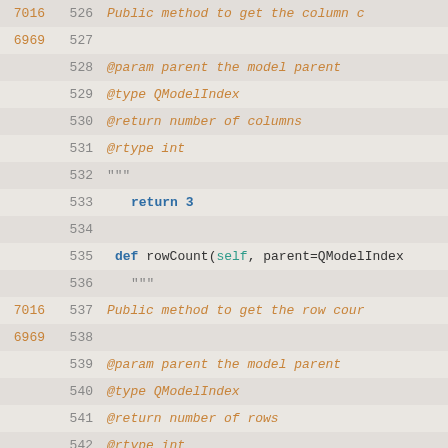Source code listing, lines 526-555, Python class methods: columnCount and rowCount and flags
[Figure (screenshot): Python source code editor showing lines 526-555 with syntax highlighting. Orange numbers on left are coverage markers (7016/6969), grey line numbers follow, then indented code. Keywords in blue bold, docstring text in orange italic, self/type references in teal.]